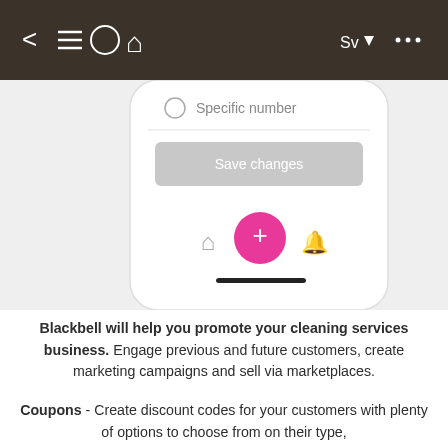[Figure (screenshot): Dark top navigation bar with back arrow, hamburger menu, circle, home icon on the left; 'Sv' dropdown and ellipsis on the right. Below is a mobile phone screen showing 'Specific number' radio option, a gray 'Save changes' button, and a bottom navigation bar with home icon, pink plus button, and bell icon.]
Blackbell will help you promote your cleaning services business. Engage previous and future customers, create marketing campaigns and sell via marketplaces.
Coupons - Create discount codes for your customers with plenty of options to choose from on their type,